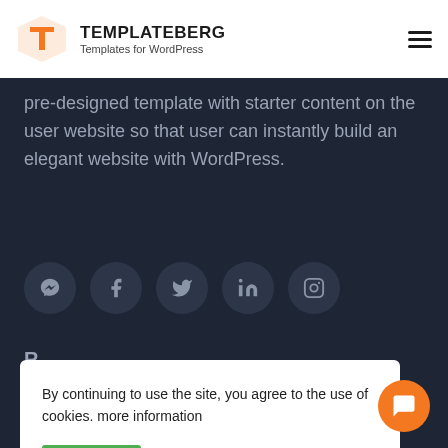TEMPLATEBERG — Templates for WordPress
pre-designed template with starter content on the user website so that user can instantly build an elegant website with WordPress.
[Figure (other): Row of five social media icon circles: Messenger, Facebook, Twitter, LinkedIn, Instagram]
By continuing to use the site, you agree to the use of cookies. more information
ACCEPT   Read More